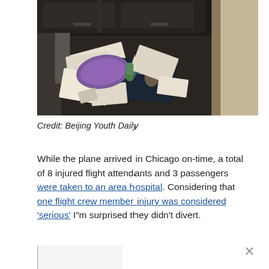[Figure (photo): Dark airplane interior floor with scattered papers, magazines, a purple inflatable travel pillow, and other debris scattered across the floor of the aircraft aisle]
Credit: Beijing Youth Daily
While the plane arrived in Chicago on-time, a total of 8 injured flight attendants and 3 passengers were taken to an area hospital. Considering that one flight crew member injury was considered ‘serious’ I“m surprised they didn’t divert.